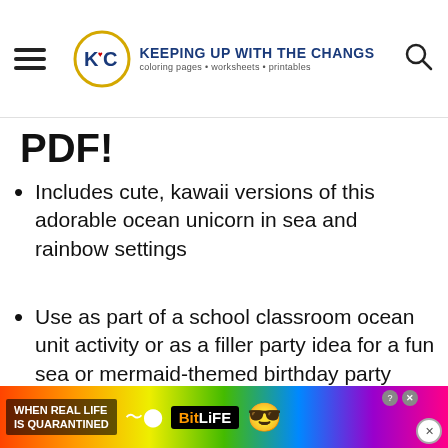KEEPING UP WITH THE CHANGS — coloring pages • worksheets • printables
PDF!
Includes cute, kawaii versions of this adorable ocean unicorn in sea and rainbow settings
Use as part of a school classroom ocean unit activity or as a filler party idea for a fun sea or mermaid-themed birthday party
(partially visible — cut off at bottom)
[Figure (screenshot): Advertisement banner: BitLife app ad with rainbow background and text 'WHEN REAL LIFE IS QUARANTINED']